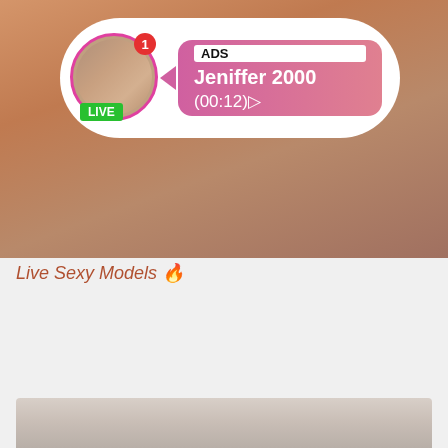[Figure (screenshot): Live streaming ad overlay on a photo background. Shows a profile bubble with avatar in pink circle border, green LIVE badge, notification badge with '1', pink gradient ad box with ADS label, name 'Jeniffer 2000', and timer '(00:12)'.]
Live Sexy Models 🔥
2:13
ADVERTISEMENT
Aug 23, 2022
ADDED
[Figure (photo): Partial photo of a person in a white/light blue tracksuit or hoodie, seated, visible from waist down.]